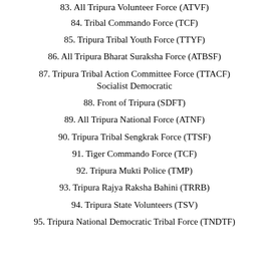83. All Tripura Volunteer Force (ATVF)
84. Tribal Commando Force (TCF)
85. Tripura Tribal Youth Force (TTYF)
86. All Tripura Bharat Suraksha Force (ATBSF)
87. Tripura Tribal Action Committee Force (TTACF) Socialist Democratic
88. Front of Tripura (SDFT)
89. All Tripura National Force (ATNF)
90. Tripura Tribal Sengkrak Force (TTSF)
91. Tiger Commando Force (TCF)
92. Tripura Mukti Police (TMP)
93. Tripura Rajya Raksha Bahini (TRRB)
94. Tripura State Volunteers (TSV)
95. Tripura National Democratic Tribal Force (TNDTF)